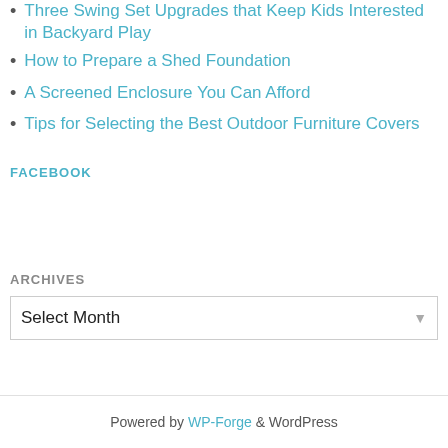Three Swing Set Upgrades that Keep Kids Interested in Backyard Play
How to Prepare a Shed Foundation
A Screened Enclosure You Can Afford
Tips for Selecting the Best Outdoor Furniture Covers
FACEBOOK
ARCHIVES
Select Month
Powered by WP-Forge & WordPress